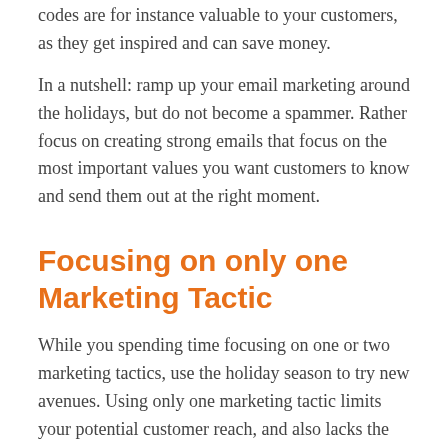codes are for instance valuable to your customers, as they get inspired and can save money.
In a nutshell: ramp up your email marketing around the holidays, but do not become a spammer. Rather focus on creating strong emails that focus on the most important values you want customers to know and send them out at the right moment.
Focusing on only one Marketing Tactic
While you spending time focusing on one or two marketing tactics, use the holiday season to try new avenues. Using only one marketing tactic limits your potential customer reach, and also lacks the creativity and authenticity customers expect in